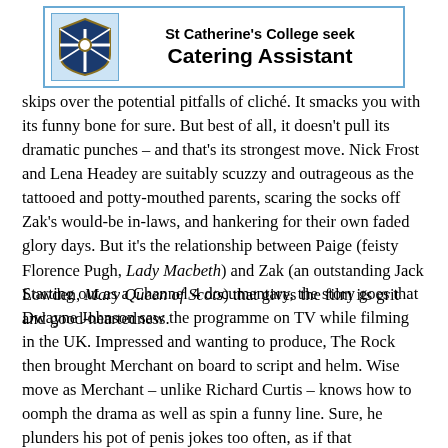[Figure (logo): St Catherine's College crest/logo in a blue-bordered advertisement box]
St Catherine's College seek Catering Assistant
skips over the potential pitfalls of cliché. It smacks you with its funny bone for sure. But best of all, it doesn't pull its dramatic punches – and that's its strongest move. Nick Frost and Lena Headey are suitably scuzzy and outrageous as the tattooed and potty-mouthed parents, scaring the socks off Zak's would-be in-laws, and hankering for their own faded glory days. But it's the relationship between Paige (feisty Florence Pugh, Lady Macbeth) and Zak (an outstanding Jack Lowden, Mary Queen of Scots) that gives the film its grit and good-heartedness.
Starting out as a Channel 4 documentary, the story goes that Dwayne Johnson saw the programme on TV while filming in the UK. Impressed and wanting to produce, The Rock then brought Merchant on board to script and helm. Wise move as Merchant – unlike Richard Curtis – knows how to oomph the drama as well as spin a funny line. Sure, he plunders his pot of penis jokes too often, as if that establishes a working-class world. But he's not afraid to darken the tone as when Zak kicks off in a pub and